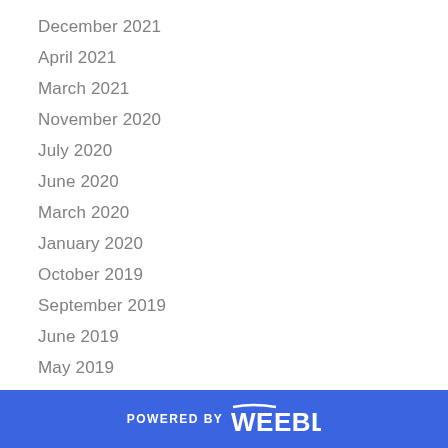December 2021
April 2021
March 2021
November 2020
July 2020
June 2020
March 2020
January 2020
October 2019
September 2019
June 2019
May 2019
April 2019
March 2019
February 2019
POWERED BY weebly